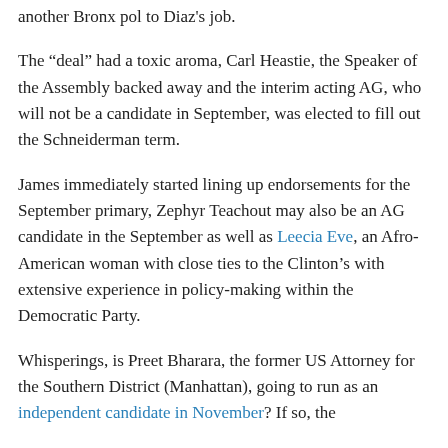another Bronx pol to Diaz's job.
The “deal” had a toxic aroma, Carl Heastie, the Speaker of the Assembly backed away and the interim acting AG, who will not be a candidate in September, was elected to fill out the Schneiderman term.
James immediately started lining up endorsements for the September primary, Zephyr Teachout may also be an AG candidate in the September as well as Leecia Eve, an Afro-American woman with close ties to the Clinton’s with extensive experience in policy-making within the Democratic Party.
Whisperings, is Preet Bharara, the former US Attorney for the Southern District (Manhattan), going to run as an independent candidate in November? If so, the